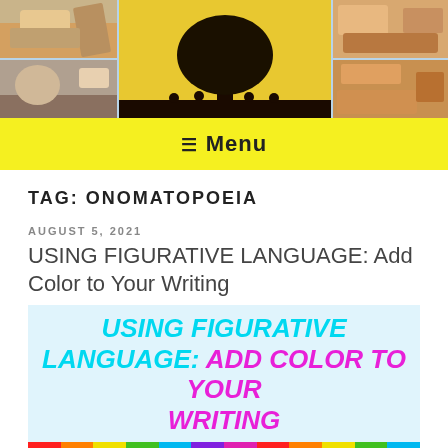[Figure (photo): Website header with collage of photos: food/cooking on left, tree silhouette in center on yellow background, tacos on right, on light blue background]
☰ Menu
TAG: ONOMATOPOEIA
AUGUST 5, 2021
USING FIGURATIVE LANGUAGE: Add Color to Your Writing
[Figure (infographic): Featured image with colorful text: USING FIGURATIVE LANGUAGE: Add Color to Your Writing in cyan and magenta italic bold text on light blue background, with rainbow stripe bar at bottom]